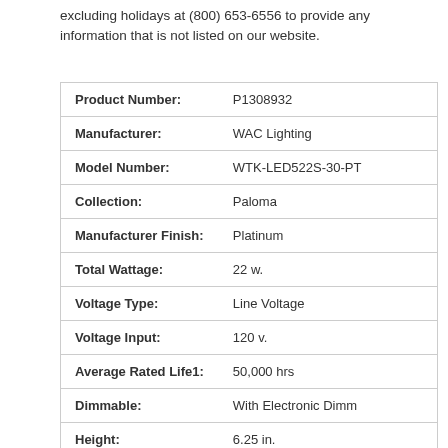excluding holidays at (800) 653-6556 to provide any information that is not listed on our website.
| Attribute | Value |
| --- | --- |
| Product Number: | P1308932 |
| Manufacturer: | WAC Lighting |
| Model Number: | WTK-LED522S-30-PT |
| Collection: | Paloma |
| Manufacturer Finish: | Platinum |
| Total Wattage: | 22 w. |
| Voltage Type: | Line Voltage |
| Voltage Input: | 120 v. |
| Average Rated Life1: | 50,000 hrs |
| Dimmable: | With Electronic Dimm |
| Height: | 6.25 in. |